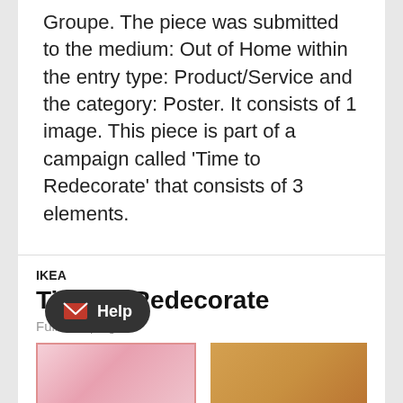Groupe. The piece was submitted to the medium: Out of Home within the entry type: Product/Service and the category: Poster. It consists of 1 image. This piece is part of a campaign called 'Time to Redecorate' that consists of 3 elements.
IKEA
Time to Redecorate
Full Campaign
[Figure (photo): Two thumbnail images side by side: left is a pink/rosy interior decoration image, right is a golden/warm interior decoration image]
[Figure (other): Help button overlay with envelope icon]